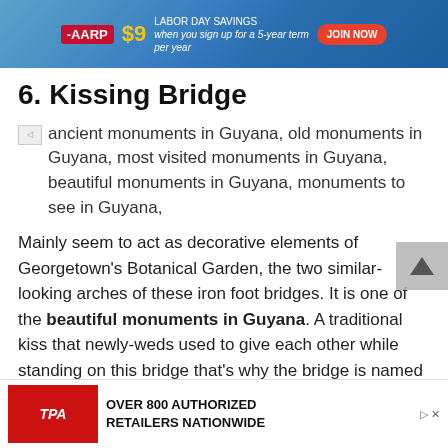[Figure (other): AARP advertisement banner: LABOR DAY SAVINGS $9 when you sign up for a 5-year term per year. JOIN NOW button in red.]
6. Kissing Bridge
ancient monuments in Guyana, old monuments in Guyana, most visited monuments in Guyana, beautiful monuments in Guyana, monuments to see in Guyana,
Mainly seem to act as decorative elements of Georgetown's Botanical Garden, the two similar-looking arches of these iron foot bridges. It is one of the beautiful monuments in Guyana. A traditional kiss that newly-weds used to give each other while standing on this bridge that's why the bridge is named as 'Kissing Bridge' and this tradition still continues. One bridge with dry feet can be crossed, the other ends in the middle of a pond. Quite funny. Great location for t…
[Figure (other): Bottom advertisement: TPA motors/generators. OVER 800 AUTHORIZED RETAILERS NATIONWIDE]